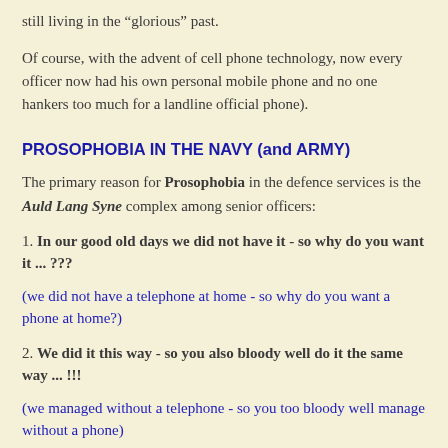still living in the “glorious” past.
Of course, with the advent of cell phone technology, now every officer now had his own personal mobile phone and no one hankers too much for a landline official phone).
PROSOPHOBIA IN THE NAVY (and ARMY)
The primary reason for Prosophobia in the defence services is the Auld Lang Syne complex among senior officers:
1. In our good old days we did not have it - so why do you want it ... ???
(we did not have a telephone at home - so why do you want a phone at home?)
2. We did it this way - so you also bloody well do it the same way ... !!!
(we managed without a telephone - so you too bloody well manage without a phone)
These retrograde guys have a feudal mindset want to live in “past